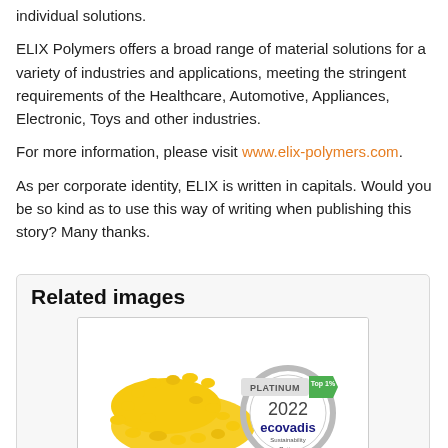individual solutions.
ELIX Polymers offers a broad range of material solutions for a variety of industries and applications, meeting the stringent requirements of the Healthcare, Automotive, Appliances, Electronic, Toys and other industries.
For more information, please visit www.elix-polymers.com.
As per corporate identity, ELIX is written in capitals. Would you be so kind as to use this way of writing when publishing this story? Many thanks.
Related images
[Figure (photo): Yellow polymer pellets next to an EcoVadis Platinum 2022 Sustainability Rating medal with 'Top 1%' green banner]